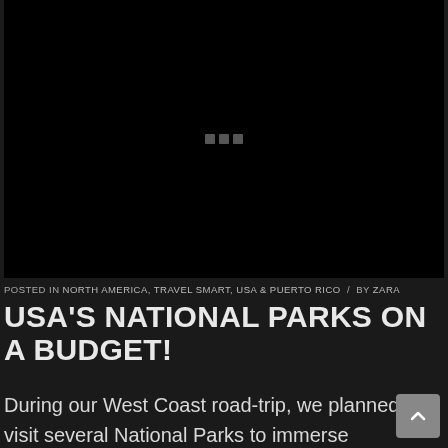[Figure (photo): Large black hero image with loading indicator dots in the center]
POSTED IN NORTH AMERICA, TRAVEL SMART, USA & PUERTO RICO / BY ZARA
USA'S NATIONAL PARKS ON A BUDGET!
During our West Coast road-trip, we planned to visit several National Parks to immerse